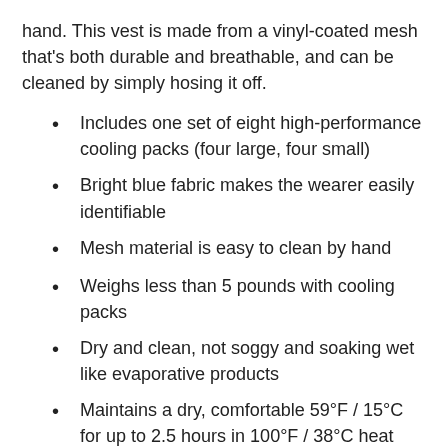hand. This vest is made from a vinyl-coated mesh that's both durable and breathable, and can be cleaned by simply hosing it off.
Includes one set of eight high-performance cooling packs (four large, four small)
Bright blue fabric makes the wearer easily identifiable
Mesh material is easy to clean by hand
Weighs less than 5 pounds with cooling packs
Dry and clean, not soggy and soaking wet like evaporative products
Maintains a dry, comfortable 59°F / 15°C for up to 2.5 hours in 100°F / 38°C heat
Self-contained, portable and unpowered – no cumbersome hoses, tubes or tethers
Made in the USA